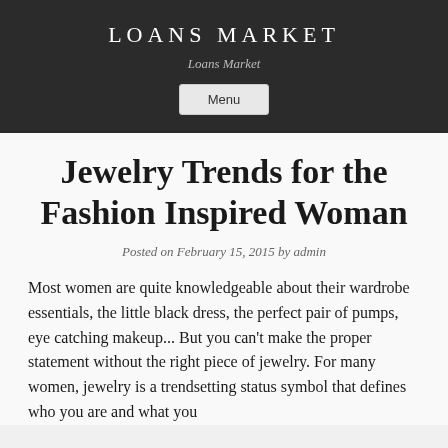LOANS MARKET
Loans Market
Menu
Jewelry Trends for the Fashion Inspired Woman
Posted on February 15, 2015 by admin
Most women are quite knowledgeable about their wardrobe essentials, the little black dress, the perfect pair of pumps, eye catching makeup... But you can't make the proper statement without the right piece of jewelry. For many women, jewelry is a trendsetting status symbol that defines who you are and what you